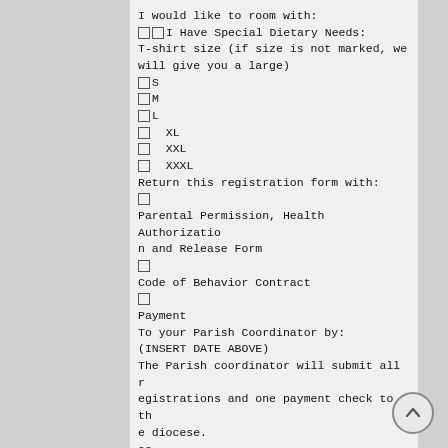I would like to room with:
☐☐ I Have Special Dietary Needs:
T-shirt size (if size is not marked, we will give you a large)
☐ S
☐ M
☐ L
☐  XL
☐  XXL
☐  XXXL
Return this registration form with:
☐
Parental Permission, Health Authorization and Release Form
☐
Code of Behavior Contract
☐
Payment
To your Parish Coordinator by:
(INSERT DATE ABOVE)
The Parish coordinator will submit all registrations and one payment check to the diocese.
22